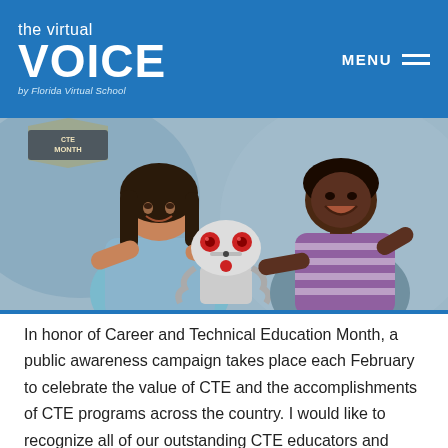the virtual VOICE by Florida Virtual School
[Figure (photo): Two female students working together on a robotic device with red and white components. A CTE Month badge/banner is visible in the top left corner of the image.]
In honor of Career and Technical Education Month, a public awareness campaign takes place each February to celebrate the value of CTE and the accomplishments of CTE programs across the country. I would like to recognize all of our outstanding CTE educators and students for making a difference in the world.